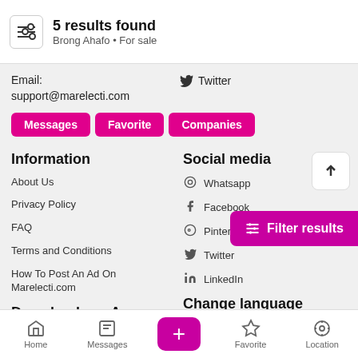5 results found
Brong Ahafo • For sale
Email: support@marelecti.com
Twitter
Messages
Favorite
Companies
Information
Social media
About Us
Whatsapp
Privacy Policy
Facebook
FAQ
Pinterest
Terms and Conditions
Twitter
How To Post An Ad On Marelecti.com
LinkedIn
Download our Apps
Change language
English
Home | Messages | + | Favorite | Location